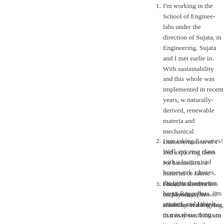I'm working in the School of Engineering labs under the direction of Sujata, m Engineering. Sujata and I met earlie in. With sustainability and this whole was implemented in recent years, w naturally-derived, renewable materia and mechanical characterization of t and exploring them for biomedical a material or fabric could be used in s emphysema (loss of elasticity in the trying to mix these things to see if c medical devices and to see whether adverse side effects.
I am taking 5 courses! Well, my rese class with a lecture and homework. classes, the typical semester here i Regardless, I'm excited, and I think
I have 8:30 am class on Mondays, W schoolers reading this, that may sou 9:00 am becomes your 6:00 am as a school for a 7:15 am first class and everyday life. Waking up past 6:00 a am is pretty early, and 8:30 am is n few classes meet before 9). This is, all that bad. I guess I'm being a bit c by 10:00 or 11:00 am, which is bef